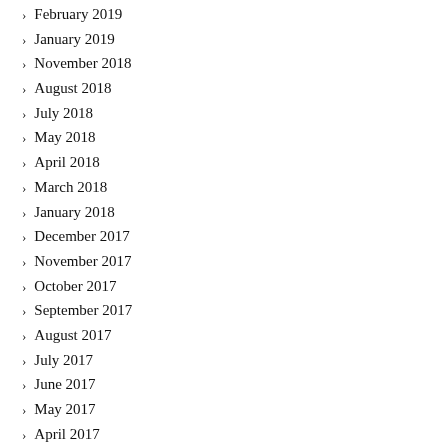February 2019
January 2019
November 2018
August 2018
July 2018
May 2018
April 2018
March 2018
January 2018
December 2017
November 2017
October 2017
September 2017
August 2017
July 2017
June 2017
May 2017
April 2017
March 2017
February 2017
January 2017
December 2016